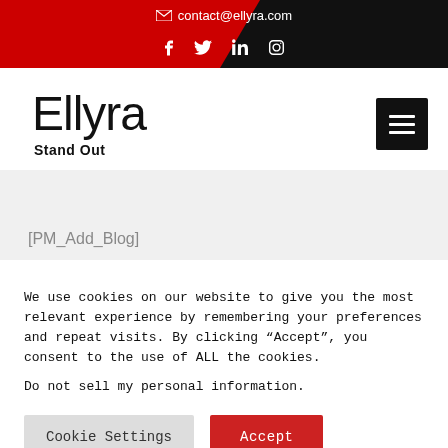contact@ellyra.com | f  t  in  instagram
Ellyra
Stand Out
[PM_Add_Blog]
We use cookies on our website to give you the most relevant experience by remembering your preferences and repeat visits. By clicking “Accept”, you consent to the use of ALL the cookies.
Do not sell my personal information.
Cookie Settings  Accept